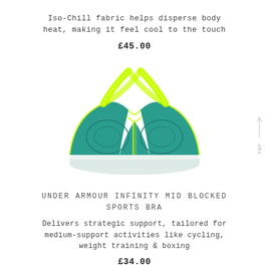Iso-Chill fabric helps disperse body heat, making it feel cool to the touch
£45.00
[Figure (photo): Under Armour Infinity Mid Blocked Sports Bra shown from the back, teal/green color with neon yellow straps crossing in the back, white elastic band at bottom]
UNDER ARMOUR INFINITY MID BLOCKED SPORTS BRA
Delivers strategic support, tailored for medium-support activities like cycling, weight training & boxing
£34.00